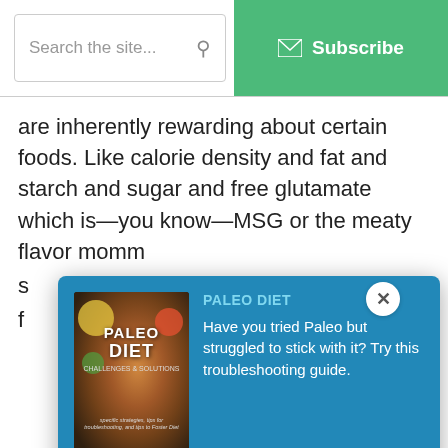Search the site...  Subscribe
are inherently rewarding about certain foods. Like calorie density and fat and starch and sugar and free glutamate which is—you know—MSG or the meaty flavor momm
[Figure (screenshot): Popup modal with blue background showing Paleo Diet book cover, text 'PALEO DIET Have you tried Paleo but struggled to stick with it? Try this troubleshooting guide.', email input field, and Download Now green button. A close X button in top right of modal.]